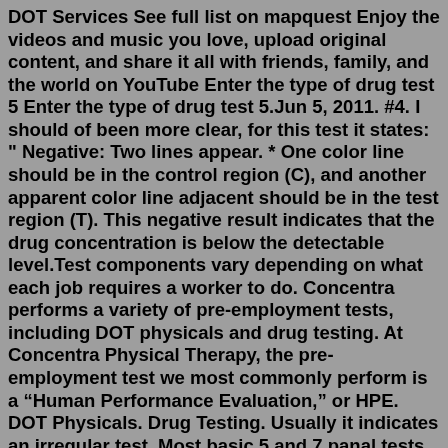DOT Services See full list on mapquest Enjoy the videos and music you love, upload original content, and share it all with friends, family, and the world on YouTube Enter the type of drug test 5 Enter the type of drug test 5.Jun 5, 2011. #4. I should of been more clear, for this test it states: " Negative: Two lines appear. * One color line should be in the control region (C), and another apparent color line adjacent should be in the test region (T). This negative result indicates that the drug concentration is below the detectable level.Test components vary depending on what each job requires a worker to do. Concentra performs a variety of pre-employment tests, including DOT physicals and drug testing. At Concentra Physical Therapy, the pre-employment test we most commonly perform is a “Human Performance Evaluation,” or HPE. DOT Physicals. Drug Testing. Usually it indicates an irregular test. Most basic 5 and 7 panal tests will provide instant results (example if you are taking a pre access work drug test). Those results are usually delivered right away, but if the